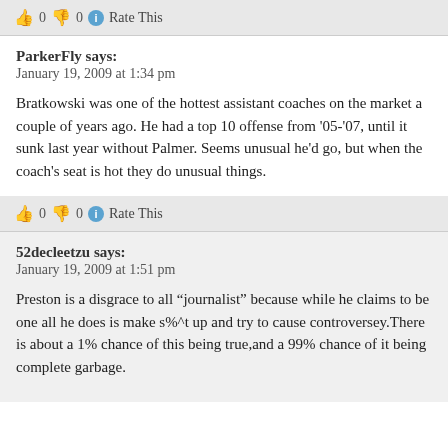👍 0 👎 0 ℹ Rate This
ParkerFly says:
January 19, 2009 at 1:34 pm
Bratkowski was one of the hottest assistant coaches on the market a couple of years ago. He had a top 10 offense from '05-'07, until it sunk last year without Palmer. Seems unusual he'd go, but when the coach's seat is hot they do unusual things.
👍 0 👎 0 ℹ Rate This
52decleetzu says:
January 19, 2009 at 1:51 pm
Preston is a disgrace to all "journalist" because while he claims to be one all he does is make s%^t up and try to cause controversey.There is about a 1% chance of this being true,and a 99% chance of it being complete garbage.